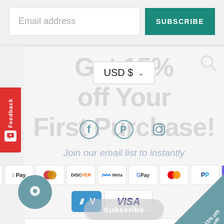Email address
SUBSCRIBE
Get 15% off Your First Purchase!
USD $
[Figure (screenshot): Social media icons: Facebook, Pinterest, Instagram]
Join our email list to instantly
[Figure (screenshot): Payment method badges: AMEX, Apple Pay, Diners Club, Discover, Meta Pay, Google Pay, Mastercard, PayPal, OPay, Venmo, Visa]
Email
© 2022, Sunny Rain Art
Subscribe
Feedback
Get 15% off!